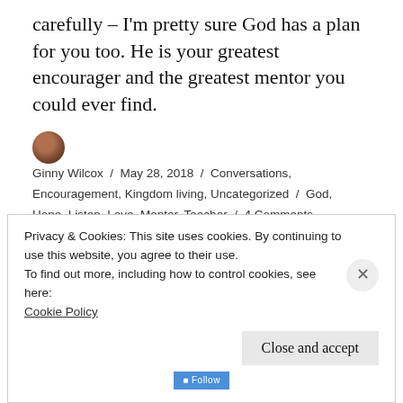carefully – I'm pretty sure God has a plan for you too. He is your greatest encourager and the greatest mentor you could ever find.
Ginny Wilcox / May 28, 2018 / Conversations, Encouragement, Kingdom living, Uncategorized / God, Hope, Listen, Love, Mentor, Teacher / 4 Comments
SUBSCRIBE TO BLOG VIA EMAIL
Privacy & Cookies: This site uses cookies. By continuing to use this website, you agree to their use.
To find out more, including how to control cookies, see here: Cookie Policy
Close and accept